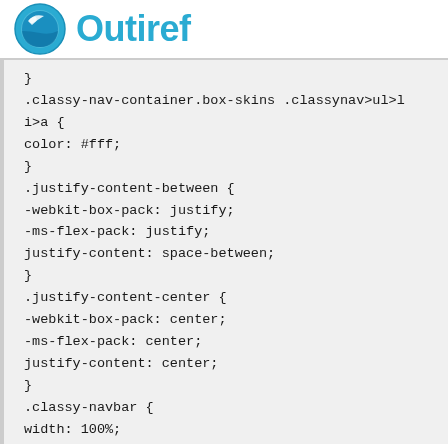[Figure (logo): Outiref logo: circular blue icon with wave/globe design on left, bold blue text 'Outiref' on right]
}
.classy-nav-container.box-skins .classynav>ul>li>a {
color: #fff;
}
.justify-content-between {
-webkit-box-pack: justify;
-ms-flex-pack: justify;
justify-content: space-between;
}
.justify-content-center {
-webkit-box-pack: center;
-ms-flex-pack: center;
justify-content: center;
}
.classy-navbar {
width: 100%;
height: 70px;
padding: 0.5em 2em;
display: -webkit-box;